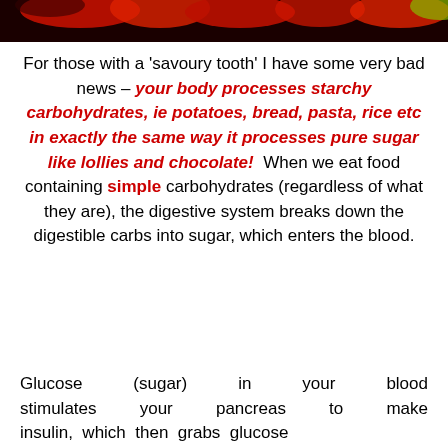[Figure (photo): Top strip image showing red and orange food items (peppers, vegetables) on a dark background]
For those with a 'savoury tooth' I have some very bad news – your body processes starchy carbohydrates, ie potatoes, bread, pasta, rice etc in exactly the same way it processes pure sugar like lollies and chocolate!  When we eat food containing simple carbohydrates (regardless of what they are), the digestive system breaks down the digestible carbs into sugar, which enters the blood.
Glucose (sugar) in your blood stimulates your pancreas to make insulin, which then grabs glucose